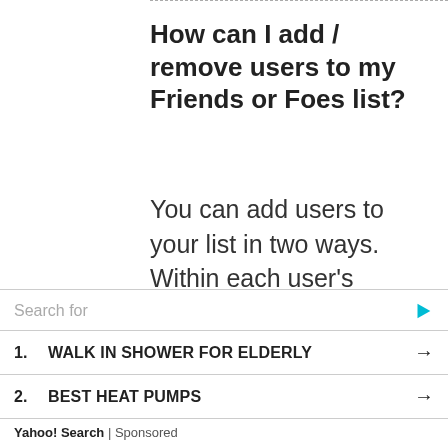How can I add / remove users to my Friends or Foes list?
You can add users to your list in two ways. Within each user's profile, there is a link to add them to either your Friend or Foe list. Alternatively, from your User Control Panel, you can directly add users by entering their member name. You may also remove users
Search for
1. WALK IN SHOWER FOR ELDERLY →
2. BEST HEAT PUMPS →
Yahoo! Search | Sponsored